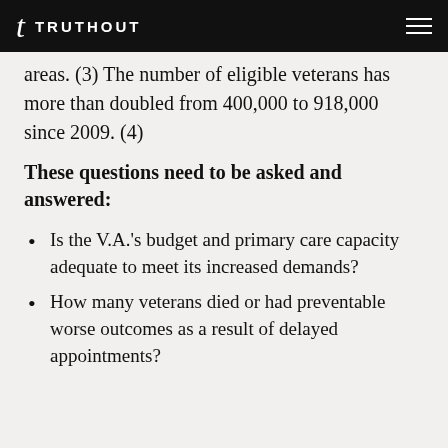TRUTHOUT
areas. (3) The number of eligible veterans has more than doubled from 400,000 to 918,000 since 2009. (4)
These questions need to be asked and answered:
Is the V.A.'s budget and primary care capacity adequate to meet its increased demands?
How many veterans died or had preventable worse outcomes as a result of delayed appointments?